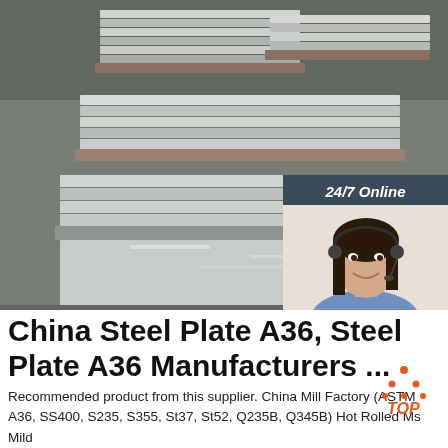[Figure (photo): Stacked steel plates/sheets in a warehouse or factory setting, with a '24/7 Online' customer service widget on the right side showing a female agent with headset, 'Click here for free chat!' text, and an orange QUOTATION button.]
China Steel Plate A36, Steel Plate A36 Manufacturers ...
Recommended product from this supplier. China Mill Factory (ASTM A36, SS400, S235, S355, St37, St52, Q235B, Q345B) Hot Rolled Ms Mild